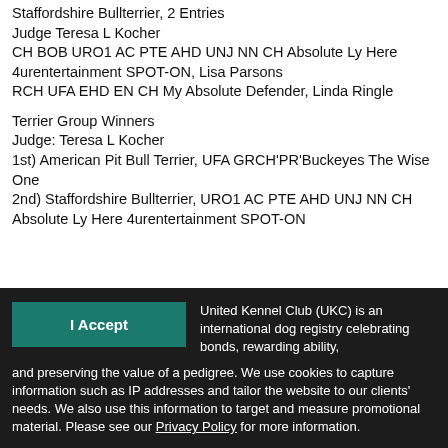Staffordshire Bullterrier, 2 Entries
Judge Teresa L Kocher
CH BOB URO1 AC PTE AHD UNJ NN CH Absolute Ly Here 4urentertainment SPOT-ON, Lisa Parsons
RCH UFA EHD EN CH My Absolute Defender, Linda Ringle
Terrier Group Winners
Judge: Teresa L Kocher
1st) American Pit Bull Terrier, UFA GRCH'PR'Buckeyes The Wise One
2nd) Staffordshire Bullterrier, URO1 AC PTE AHD UNJ NN CH Absolute Ly Here 4urentertainment SPOT-ON
I Accept
United Kennel Club (UKC) is an international dog registry celebrating bonds, rewarding ability, and preserving the value of a pedigree. We use cookies to capture information such as IP addresses and tailor the website to our clients' needs. We also use this information to target and measure promotional material. Please see our Privacy Policy for more information.